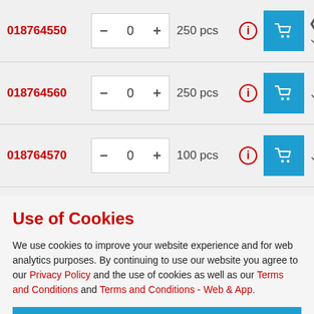| Product ID | Quantity | Pack Size | Info | Add to Cart | Expand |
| --- | --- | --- | --- | --- | --- |
| 018764550 | 0 | 250 pcs |  |  |  |
| 018764560 | 0 | 250 pcs |  |  |  |
| 018764570 | 0 | 100 pcs |  |  |  |
| 018764580 | 0 | 100 pcs |  |  |  |
Use of Cookies
We use cookies to improve your website experience and for web analytics purposes. By continuing to use our website you agree to our Privacy Policy and the use of cookies as well as our Terms and Conditions and Terms and Conditions - Web & App.
CLOSE